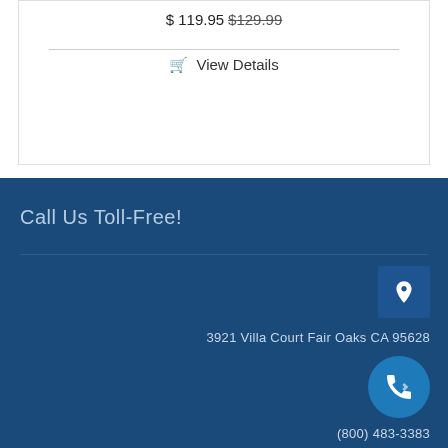$ 119.95 $129.99
🛒 View Details
Call Us Toll-Free!
3921 Villa Court Fair Oaks CA 95628
(800) 483-3383